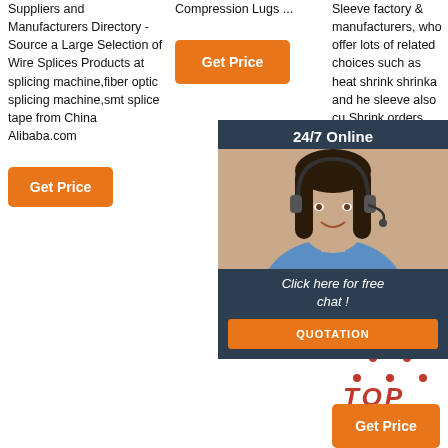Suppliers and Manufacturers Directory - Source a Large Selection of Wire Splices Products at splicing machine,fiber optic splicing machine,smt splice tape from China Alibaba.com
[Figure (other): Orange 'Get Price' button (left column)]
Compression Lugs ...
[Figure (other): Orange 'Get Price' button (middle column)]
Sleeve factory & manufacturers, who offer lots of related choices such as heat shrink shrinkage and he sleeve also cu Shrink orders OEM/C manufa They a experie China exporters for your online sourcing.
[Figure (other): Chat overlay with '24/7 Online' header, woman with headset photo, 'Click here for free chat!' text, and orange QUOTATION button]
[Figure (other): TOP navigation widget with dotted triangle and red italic TOP text]
[Figure (other): Orange 'Get Price' button (right column, bottom)]